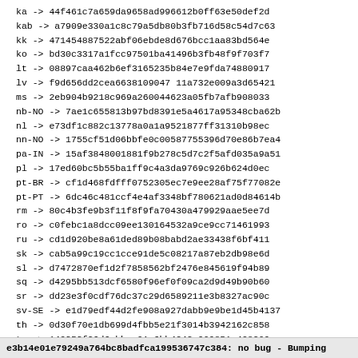ka -> 44f461c7a659da9658ad996612b0ff63e50def2d
kab -> a7909e330a1c8c79a5db80b3fb716d58c54d7c63
kk -> 471454887522abf06ebde8d676bcc1aa83bd564e
ko -> bd30c3317a1fcc97501ba41496b3fb48f9f703f7
lt -> 08897caa462b6ef3165235b84e7e9fda74880917
lv -> f9d656dd2cea6638109047 11a732e009a3d65421
ms -> 2eb904b9218c969a260044623a05fb7afb908033
nb-NO -> 7ae1c655813b97bd8391e5a4617a95348cba62b
nl -> e73df1c882c13778a0a1a9521877ff31310b98ec
nn-NO -> 1755cf51d06bbfe0c00587755396d70e86b7ea4
pa-IN -> 15af3848001881f9b278c5d7c2f5afd035a9a51
pl -> 17ed60bc5b55ba1ff9c4a3da9769c926b624d0ec
pt-BR -> cf1d468fdfff0752305ec7e9ee28af75f77082e
pt-PT -> 6dc46c481ccf4e4af3348bf780621ad0d84614b
rm -> 80c4b3fe9b3f11f8f9fa70430a479929aae5ee7d
ro -> c0febc1a8dcc09ee130164532a9ce9cc71461993
ru -> cd1d920be8a61ded89b08babd2ae33438f6bf411
sk -> cab5a99c19cc1cce91de5c08217a87eb2db98e6d
sl -> d7472870ef1d2f7858562bf2476e845619f94b89
sq -> d4295bb513dcf6580f96ef0f09ca2d9d49b90b60
sr -> dd23e3f0cdf76dc37c29d6589211e3b8327ac90c
sv-SE -> e1d79edf44d2fe908a927dabb9e9be1d45b4137
th -> 0d30f70e1db699d4fbb5e21f3014b3942162c858
tr -> 149353f26d6cbbec01a6bb4242a909851c498209
uk -> 65bae258e50b6757249b7362b3598ffa870bd3b8
uz -> dc30161bbc8009113cdb04161b9735d873b969ca
vi -> e8eeed8fb58b963d558eb8c1e9ac22c92edccc07
zh-CN -> 74129320a02fc8368e95135cded1978ea5d0274
zh-TW -> 954ec82acfdf6fe36632ac4d24715779a5d8e4b
e3b14e01e79249a764bc8badfca199536747c384: no bug - Bumping